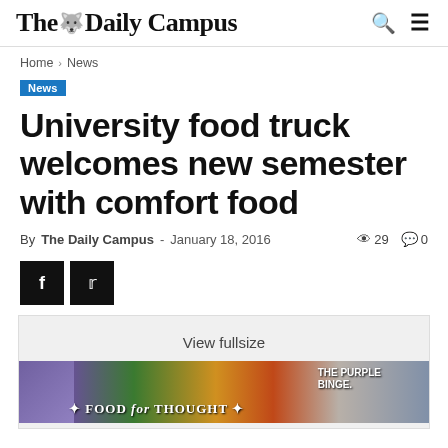The Daily Campus
Home › News
News
University food truck welcomes new semester with comfort food
By The Daily Campus - January 18, 2016 · 29 views · 0 comments
[Figure (screenshot): View fullsize button above a Food for Thought food truck promotional banner image]